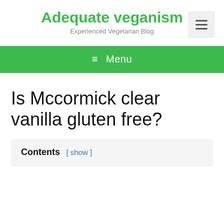Adequate veganism
Experienced Vegetarian Blog
Is Mccormick clear vanilla gluten free?
Contents [ show ]